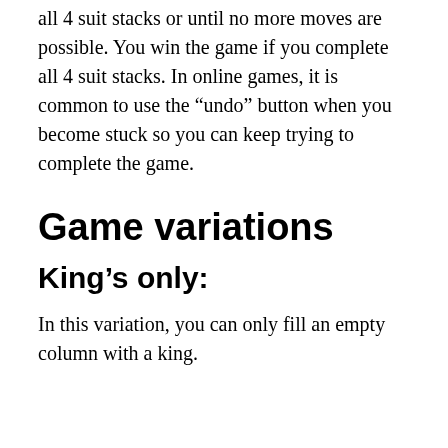all 4 suit stacks or until no more moves are possible. You win the game if you complete all 4 suit stacks. In online games, it is common to use the “undo” button when you become stuck so you can keep trying to complete the game.
Game variations
King’s only:
In this variation, you can only fill an empty column with a king.